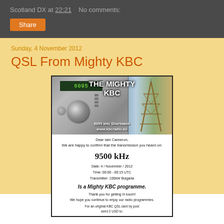Scotland DX at 22:21   No comments:
Share
Sunday, 4 November 2012
QSL From Mighty KBC
[Figure (photo): QSL card from The Mighty KBC radio station showing a shortwave radio receiver displaying 6095 kHz, a transmission tower, and text confirming reception on 9500 kHz on 4 November 2012, 00:00-00:15 UTC, 100kW Bulgaria. Includes message: Dear Iain Cameron, We are happy to confirm that the transmission you heard on: 9500 kHz is a Mighty KBC programme. Thank you for getting in touch! We hope you continue to enjoy our radio programmes. For an original KBC QSL card by post send 2 USD to:]